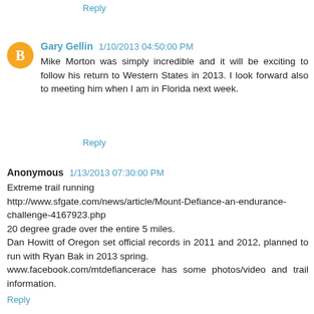Reply
Gary Gellin  1/10/2013 04:50:00 PM
Mike Morton was simply incredible and it will be exciting to follow his return to Western States in 2013. I look forward also to meeting him when I am in Florida next week.
Reply
Anonymous  1/13/2013 07:30:00 PM
Extreme trail running http://www.sfgate.com/news/article/Mount-Defiance-an-endurance-challenge-4167923.php
20 degree grade over the entire 5 miles.
Dan Howitt of Oregon set official records in 2011 and 2012, planned to run with Ryan Bak in 2013 spring.
www.facebook.com/mtdefiancerace has some photos/video and trail information.
Reply